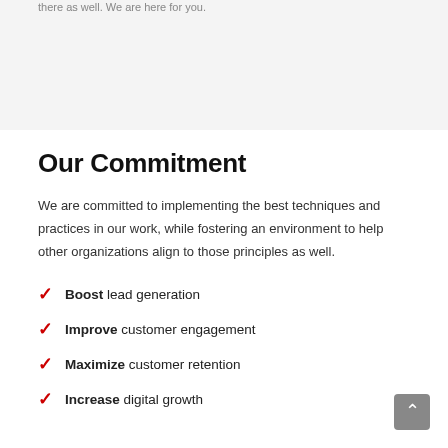there as well. We are here for you.
Our Commitment
We are committed to implementing the best techniques and practices in our work, while fostering an environment to help other organizations align to those principles as well.
Boost lead generation
Improve customer engagement
Maximize customer retention
Increase digital growth